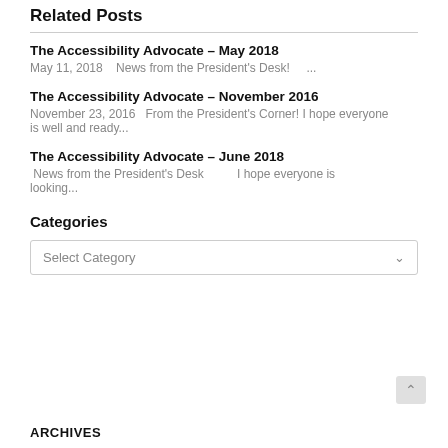Related Posts
The Accessibility Advocate – May 2018
May 11, 2018   News from the President's Desk!   ...
The Accessibility Advocate – November 2016
November 23, 2016   From the President's Corner! I hope everyone is well and ready...
The Accessibility Advocate – June 2018
News from the President's Desk        I hope everyone is looking...
Categories
Select Category
ARCHIVES